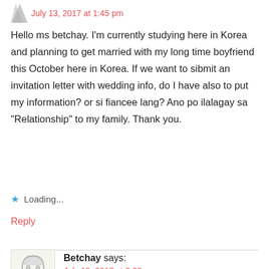July 13, 2017 at 1:45 pm
Hello ms betchay. I’m currently studying here in Korea and planning to get married with my long time boyfriend this October here in Korea. If we want to sibmit an invitation letter with wedding info, do I have also to put my information? or si fiancee lang? Ano po ilalagay sa “Relationship” to my family. Thank you.
Loading...
Reply
Betchay says:
July 13, 2017 at 2:23 pm